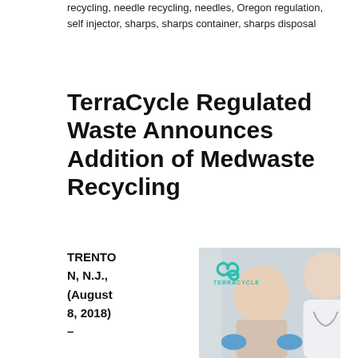recycling, needle recycling, needles, Oregon regulation, self injector, sharps, sharps container, sharps disposal
TerraCycle Regulated Waste Announces Addition of Medwaste Recycling
TRENTON, N.J., (August 8, 2018) – Medical waste (in
[Figure (photo): Photo of a smiling female doctor or nurse examining a baby or toddler, with the TerraCycle logo visible in the upper left corner of the photo.]